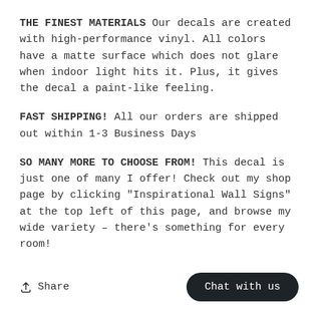THE FINEST MATERIALS Our decals are created with high-performance vinyl. All colors have a matte surface which does not glare when indoor light hits it. Plus, it gives the decal a paint-like feeling.
FAST SHIPPING! All our orders are shipped out within 1-3 Business Days
SO MANY MORE TO CHOOSE FROM! This decal is just one of many I offer! Check out my shop page by clicking "Inspirational Wall Signs" at the top left of this page, and browse my wide variety – there's something for every room!
Share
Chat with us